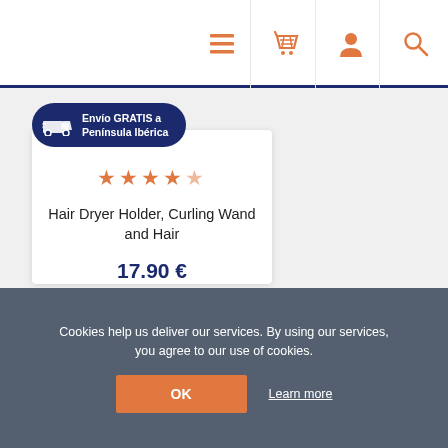[Figure (screenshot): Navigation bar with hamburger menu, shopping cart, user profile, and search icons in orange]
[Figure (infographic): Shipping badge: Envío GRATIS a Península Ibérica on dark blue background with truck icon]
Hair Dryer Holder, Curling Wand and Hair
17.90 €
ADD TO CART
Cookies help us deliver our services. By using our services, you agree to our use of cookies.
OK
Learn more